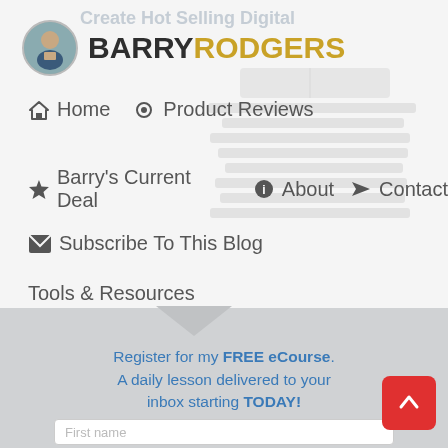Create Hot Selling Digital
[Figure (logo): Barry Rodgers logo with circular profile photo and bold text BARRY in dark color and RODGERS in gold/yellow color]
Home
Product Reviews
Barry's Current Deal
About
Contact
Subscribe To This Blog
Tools & Resources
[Figure (illustration): Watermark style illustration of stacked books or digital products in the background]
Register for my FREE eCourse. A daily lesson delivered to your inbox starting TODAY!
First name